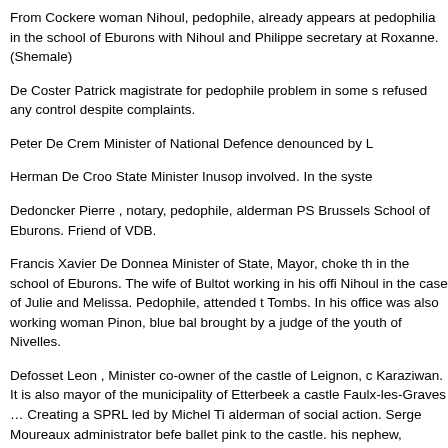From Cockere woman Nihoul, pedophile, already appears at pedophilia in the school of Eburons with Nihoul and Philippe secretary at Roxanne. (Shemale)
De Coster Patrick magistrate for pedophile problem in some s refused any control despite complaints.
Peter De Crem Minister of National Defence denounced by L
Herman De Croo State Minister Inusop involved. In the syste
Dedoncker Pierre , notary, pedophile, alderman PS Brussels School of Eburons. Friend of VDB.
Francis Xavier De Donnea Minister of State, Mayor, choke th in the school of Eburons. The wife of Bultot working in his offi Nihoul in the case of Julie and Melissa. Pedophile, attended t Tombs. In his office was also working woman Pinon, blue bal brought by a judge of the youth of Nivelles.
Defosset Leon , Minister co-owner of the castle of Leignon, c Karaziwan. It is also mayor of the municipality of Etterbeek a castle Faulx-les-Graves … Creating a SPRL led by Michel Ti alderman of social action. Serge Moureaux administrator befe ballet pink to the castle. his nephew, Jonaert Didier has the a occupies Radio Nihoul. Invited by Serge Moureaux to orgies connotations